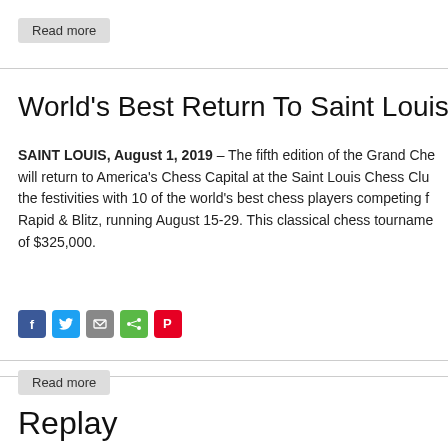Read more
World's Best Return To Saint Louis For Pivo
SAINT LOUIS, August 1, 2019 – The fifth edition of the Grand Che will return to America's Chess Capital at the Saint Louis Chess Clu the festivities with 10 of the world's best chess players competing f Rapid & Blitz, running August 15-29. This classical chess tourname of $325,000.
[Figure (infographic): Social share icons: Facebook (blue), Twitter (blue), Email (gray), Share (green), Pinterest (red)]
Read more
Replay